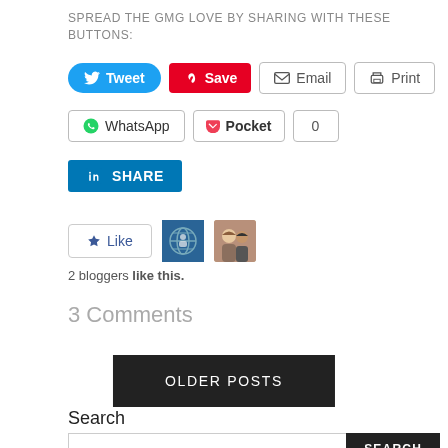SPREAD THE GMG LOVE BY SHARING WITH THESE BUTTONS:
[Figure (other): Social sharing buttons row 1: Tweet (blue), Save (Pinterest red), Email (outlined), Print (outlined)]
[Figure (other): Social sharing buttons row 2: WhatsApp (outlined), Pocket (outlined), count badge '0']
[Figure (other): LinkedIn Share button (blue)]
[Figure (other): Like button with star icon, and two blogger avatar thumbnails]
2 bloggers like this.
3 Comments
OLDER POSTS
Search
[Figure (other): Search input box with SEARCH button]